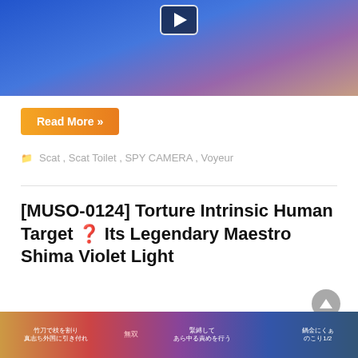[Figure (screenshot): Video thumbnail showing a person in a blue top, with a play button overlay. Background shows tiled wall.]
Read More »
Scat, Scat Toilet, SPY CAMERA, Voyeur
[MUSO-0124] Torture Intrinsic Human Target ❓ Its Legendary Maestro Shima Violet Light
August 31, 2022   madjav
[Figure (screenshot): Bottom thumbnail strip showing collage of Japanese adult video scenes with Japanese text overlays.]